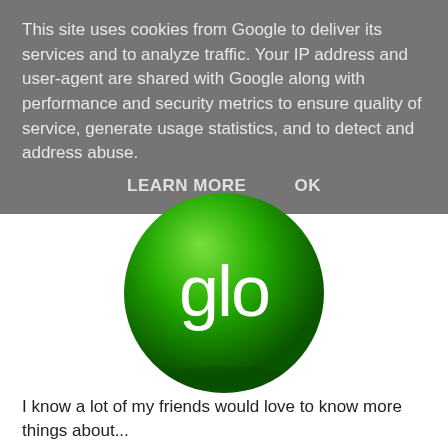This site uses cookies from Google to deliver its services and to analyze traffic. Your IP address and user-agent are shared with Google along with performance and security metrics to ensure quality of service, generate usage statistics, and to detect and address abuse.
LEARN MORE   OK
[Figure (logo): Glo telecom logo: a green glossy 3D sphere with the white text 'glo' in lowercase letters on it]
I know a lot of my friends would love to know more things about...